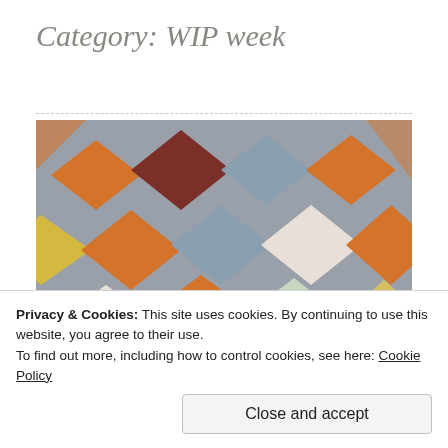Category: WIP week
[Figure (photo): A colorful patchwork quilt photographed from an angle, featuring orange, yellow, blue/grey, white, and floral fabric squares arranged in a diagonal pattern.]
Privacy & Cookies: This site uses cookies. By continuing to use this website, you agree to their use.
To find out more, including how to control cookies, see here: Cookie Policy
Close and accept